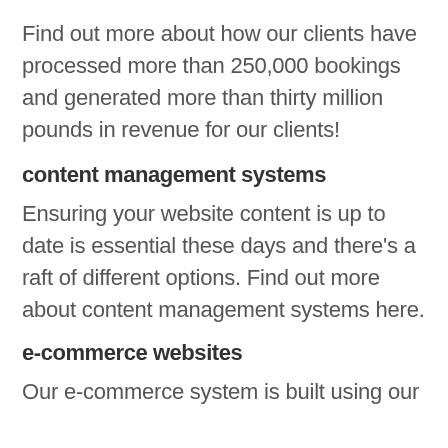Find out more about how our clients have processed more than 250,000 bookings and generated more than thirty million pounds in revenue for our clients!
content management systems
Ensuring your website content is up to date is essential these days and there's a raft of different options. Find out more about content management systems here.
e-commerce websites
Our e-commerce system is built using our